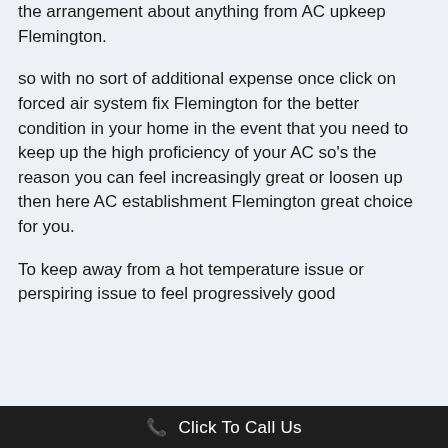the arrangement about anything from AC upkeep Flemington.
so with no sort of additional expense once click on forced air system fix Flemington for the better condition in your home in the event that you need to keep up the high proficiency of your AC so’s the reason you can feel increasingly great or loosen up then here AC establishment Flemington great choice for you.
To keep away from a hot temperature issue or perspiring issue to feel progressively good
Click To Call Us